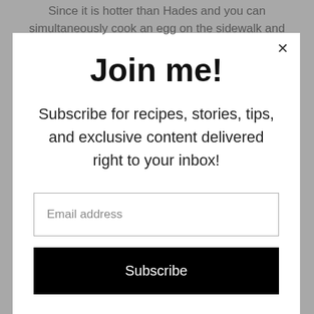Since it is hotter than Hades and you can simultaneously cook an egg on the sidewalk and
Join me!
Subscribe for recipes, stories, tips, and exclusive content delivered right to your inbox!
Email address
Subscribe